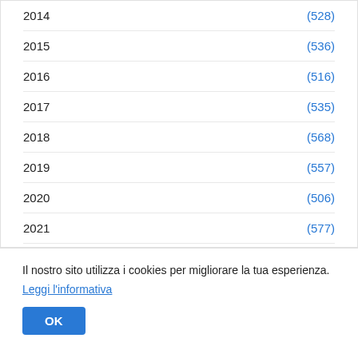2014  (528)
2015  (536)
2016  (516)
2017  (535)
2018  (568)
2019  (557)
2020  (506)
2021  (577)
2022  (375)
Il nostro sito utilizza i cookies per migliorare la tua esperienza. Leggi l’informativa
OK